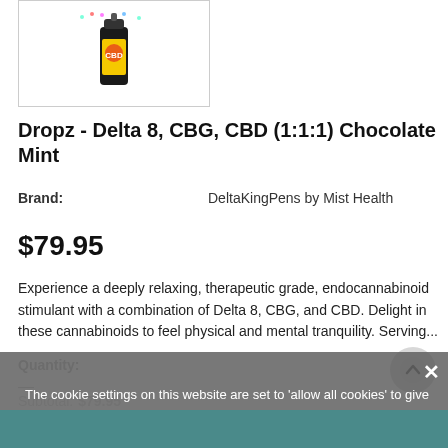[Figure (photo): Product image of a small dark bottle with colorful label in a white bordered box]
Dropz - Delta 8, CBG, CBD (1:1:1) Chocolate Mint
Brand:    DeltaKingPens by Mist Health
$79.95
Experience a deeply relaxing, therapeutic grade, endocannabinoid stimulant with a combination of Delta 8, CBG, and CBD. Delight in these cannabinoids to feel physical and mental tranquility. Serving...
Quantity:
Subtotal: $79.95
The cookie settings on this website are set to 'allow all cookies' to give you the very best experience. Please click Accept Cookies to continue to use the site.
ACCEPT COOKIES
PRIVACY POLICY